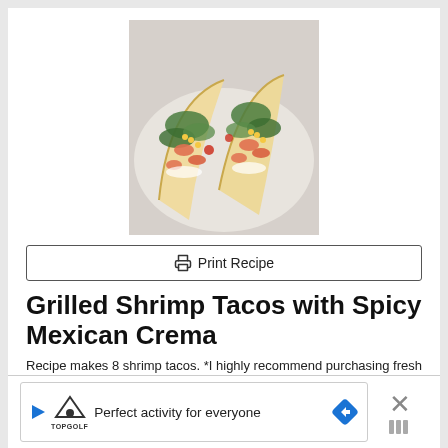[Figure (photo): Overhead photo of two grilled shrimp tacos in flour tortillas on a white plate, topped with fresh greens, corn, tomatoes, and white crema]
Print Recipe
Grilled Shrimp Tacos with Spicy Mexican Crema
Recipe makes 8 shrimp tacos. *I highly recommend purchasing fresh (not frozen) shell-on shrimp if you can.
Course: Main   Servings: 8   Author: Hip Foodie Mom
[Figure (screenshot): Advertisement banner for TopGolf: 'Perfect activity for everyone' with TopGolf logo, play button, navigation arrow icon, and an X close button]